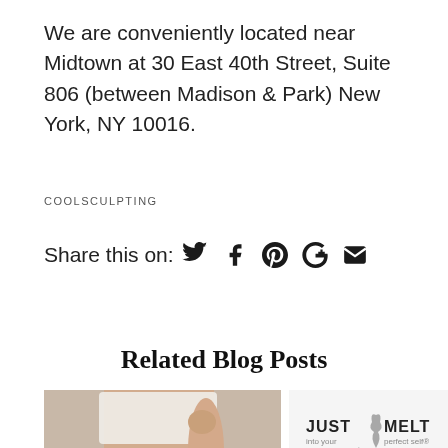We are conveniently located near Midtown at 30 East 40th Street, Suite 806 (between Madison & Park) New York, NY 10016.
COOLSCULPTING
Share this on: [Twitter] [Facebook] [Pinterest] [Google+] [Email]
Related Blog Posts
[Figure (photo): Photo of a person's midsection wearing a white crop top, showing midriff area]
[Figure (logo): Just Melt med spa logo with '25% OFF' text below in blue]